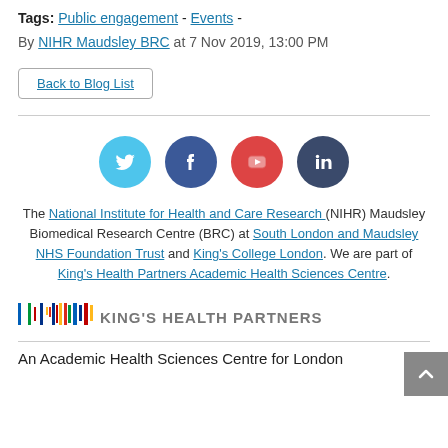Tags: Public engagement - Events -
By NIHR Maudsley BRC at 7 Nov 2019, 13:00 PM
Back to Blog List
[Figure (infographic): Four social media icons in circles: Twitter (light blue), Facebook (dark blue), YouTube (red), LinkedIn (dark navy)]
The National Institute for Health and Care Research (NIHR) Maudsley Biomedical Research Centre (BRC) at South London and Maudsley NHS Foundation Trust and King's College London. We are part of King's Health Partners Academic Health Sciences Centre.
[Figure (logo): King's Health Partners logo with coloured vertical bars and text 'KING'S HEALTH PARTNERS']
An Academic Health Sciences Centre for London